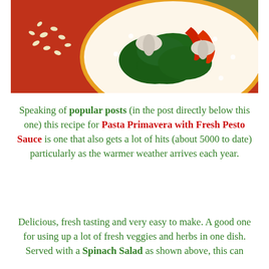[Figure (photo): Photo of a spinach salad with red bell peppers, mushrooms, and pine nuts served on an orange-rimmed plate on a red background]
Speaking of popular posts (in the post directly below this one) this recipe for Pasta Primavera with Fresh Pesto Sauce is one that also gets a lot of hits (about 5000 to date) particularly as the warmer weather arrives each year.
Delicious, fresh tasting and very easy to make. A good one for using up a lot of fresh veggies and herbs in one dish. Served with a Spinach Salad as shown above, this can